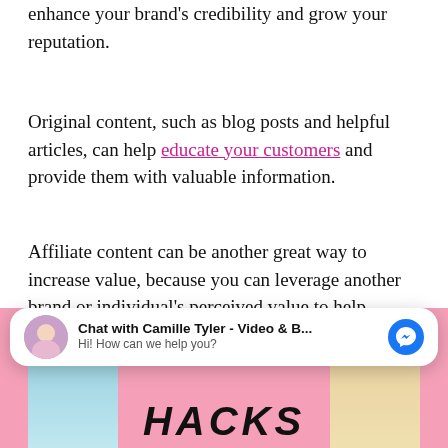enhance your brand's credibility and grow your reputation.
Original content, such as blog posts and helpful articles, can help educate your customers and provide them with valuable information.
Affiliate content can be another great way to increase value, because you can leverage another brand or individual's perceived value to help advance your own.
[Figure (photo): Social media hacks promotional image with a woman's face and bold text reading SOCIAL MEDIA HACKS on a pink background, partially overlaid by a chat widget.]